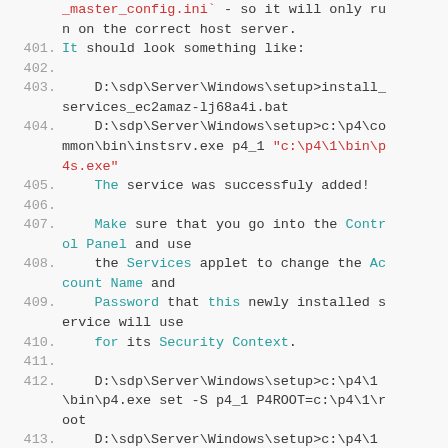Code listing lines 401-413 showing Windows setup commands for Perforce service installation
[Figure (screenshot): Source code / terminal output listing with line numbers 401-413 showing Windows command-line setup for Perforce services including instsrv.exe and p4.exe commands]